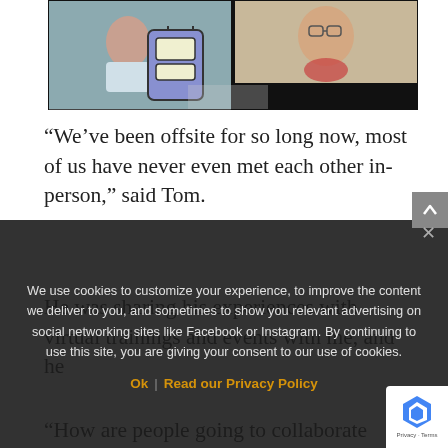[Figure (photo): Screenshot of a video call with multiple participants visible — left panel shows a person with a cartoon-style backpack, right panel shows a woman smiling and wearing a red bandana, bottom panel partially visible.]
“We’ve been offsite for so long now, most of us have never even met each other in-person,” said Tom.
He was sharing his experiences with virtual trainings and events with me, and he
“How are people going to collaborate together and feel included?” he was concerned
We use cookies to customize your experience, to improve the content we deliver to you, and sometimes to show you relevant advertising on social networking sites like Facebook or Instagram. By continuing to use this site, you are giving your consent to our use of cookies.
Ok | Read our Privacy Policy